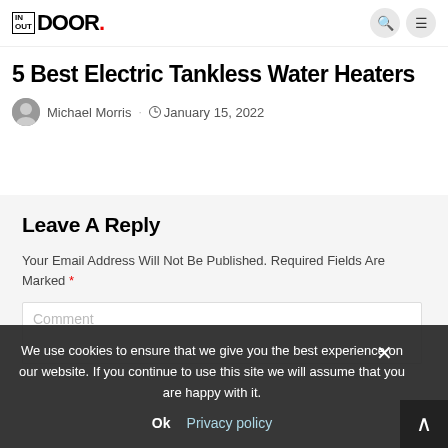IN OUT DOOR. [navigation header with search and menu icons]
5 Best Electric Tankless Water Heaters
Michael Morris  January 15, 2022
Leave A Reply
Your Email Address Will Not Be Published. Required Fields Are Marked *
Comment
We use cookies to ensure that we give you the best experience on our website. If you continue to use this site we will assume that you are happy with it. Ok Privacy policy